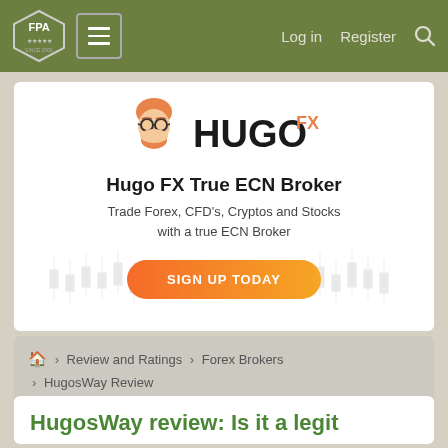FPA  Log in  Register
[Figure (logo): Hugo FX True ECN Broker advertisement banner with logo, tagline, candlestick chart background and SIGN UP TODAY button]
🏠 > Review and Ratings > Forex Brokers > HugosWay Review
HugosWay review: Is it a legit